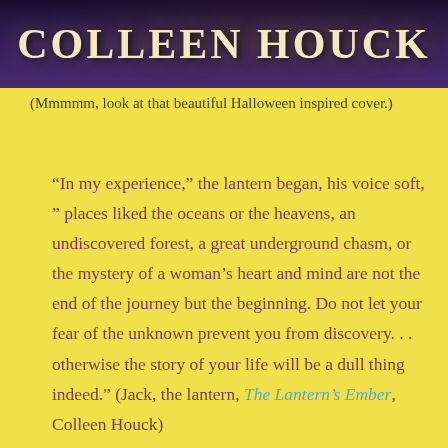[Figure (photo): Book cover image showing 'Colleen Houck' text in large letters at top, with dark Halloween-inspired imagery]
(Mmmmm, look at that beautiful Halloween inspired cover.)
“In my experience,” the lantern began, his voice soft, ” places liked the oceans or the heavens, an undiscovered forest, a great underground chasm, or the mystery of a woman’s heart and mind are not the end of the journey but the beginning. Do not let your fear of the unknown prevent you from discovery. . . otherwise the story of your life will be a dull thing indeed.” (Jack, the lantern, The Lantern’s Ember, Colleen Houck)